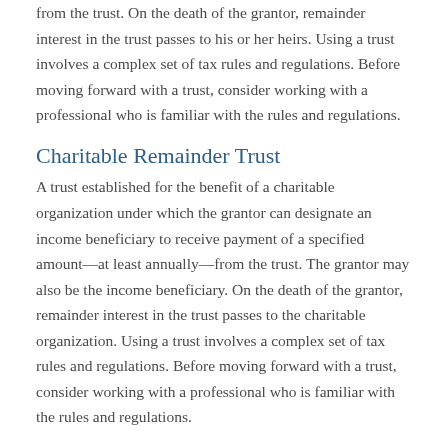from the trust. On the death of the grantor, remainder interest in the trust passes to his or her heirs. Using a trust involves a complex set of tax rules and regulations. Before moving forward with a trust, consider working with a professional who is familiar with the rules and regulations.
Charitable Remainder Trust
A trust established for the benefit of a charitable organization under which the grantor can designate an income beneficiary to receive payment of a specified amount—at least annually—from the trust. The grantor may also be the income beneficiary. On the death of the grantor, remainder interest in the trust passes to the charitable organization. Using a trust involves a complex set of tax rules and regulations. Before moving forward with a trust, consider working with a professional who is familiar with the rules and regulations.
Claim
A request for payment under the terms of an insurance